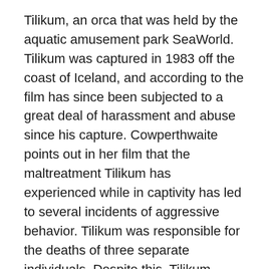Tilikum, an orca that was held by the aquatic amusement park SeaWorld. Tilikum was captured in 1983 off the coast of Iceland, and according to the film has since been subjected to a great deal of harassment and abuse since his capture. Cowperthwaite points out in her film that the maltreatment Tilikum has experienced while in captivity has led to several incidents of aggressive behavior. Tilikum was responsible for the deaths of three separate individuals. Despite this, Tilikum continues to be featured in several of SeaWorld's “Shamu” shows.
Cowperthwaite began working on Blackfish after the death of senior SeaWorld trainer Dawn Brancheau in 2010. While the claims at the time of Brancheau’s death argued that Dawn had been targeted by Tilikum because her hair was worn in a ponytail, Cowperthwaite felt there was more information surrounding this incident that was being covered up, and thus began to delve further